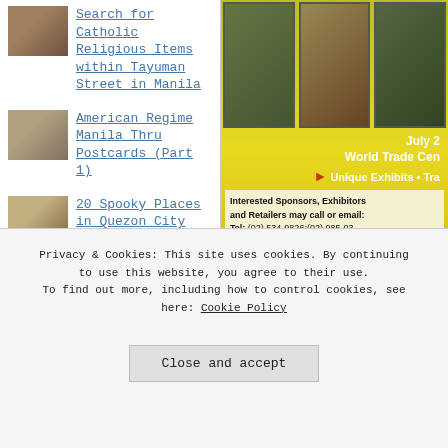Search for Catholic Religious Items within Tayuman Street in Manila
American Regime Manila Thru Postcards (Part 1)
20 Spooky Places in Quezon City
the
[Figure (photo): Advertisement banner for a flower and arts exhibition event at World Trade Center. Shows photos of flowers, plants, vases. Text: July, World Trade Center, Unique Exhibits, Tra...]
Interested Sponsors, Exhibitors and Retailers may call or email: Tel: (02) 534-9826;(02) 985-03 Mob: (0905) 353 8487, (0919) 4 Fax: (02) 534-9826 Email: events@philippinefloraa
[Figure (logo): Row of sponsor logos including: circular logo, RBZ Center Home of Exotic Pets, Manila Bulletin, Flower Club]
20
Privacy & Cookies: This site uses cookies. By continuing to use this website, you agree to their use. To find out more, including how to control cookies, see here: Cookie Policy
Close and accept